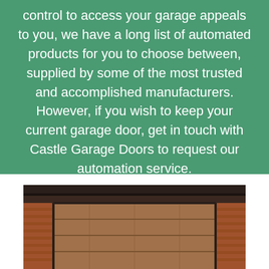control to access your garage appeals to you, we have a long list of automated products for you to choose between, supplied by some of the most trusted and accomplished manufacturers. However, if you wish to keep your current garage door, get in touch with Castle Garage Doors to request our automation service.
[Figure (photo): Photograph of a residential garage with a brown roller/sectional garage door set into a red brick wall, with a dark fascia and guttering visible at the top.]